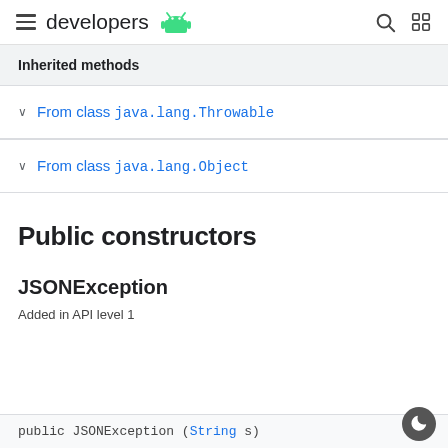developers (android logo)
Inherited methods
From class java.lang.Throwable
From class java.lang.Object
Public constructors
JSONException
Added in API level 1
public JSONException (String s)